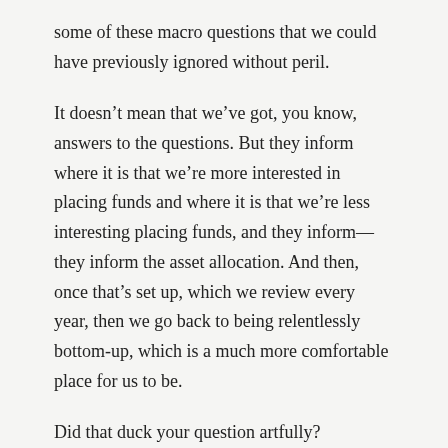some of these macro questions that we could have previously ignored without peril.
It doesn't mean that we've got, you know, answers to the questions. But they inform where it is that we're more interested in placing funds and where it is that we're less interesting placing funds, and they inform—they inform the asset allocation. And then, once that's set up, which we review every year, then we go back to being relentlessly bottom-up, which is a much more comfortable place for us to be.
Did that duck your question artfully?
RUBIN: Yeah, you—well, it wasn't so artful, but you did duck it. (Laughter.)